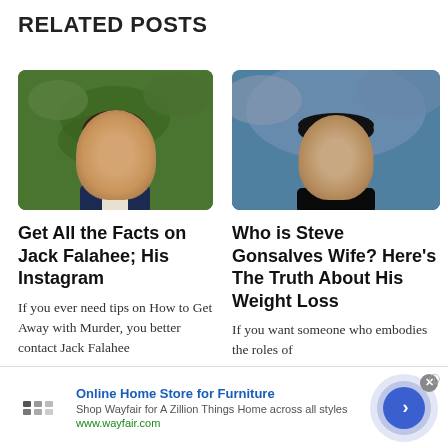RELATED POSTS
[Figure (photo): Young man with brown hair smiling, wearing a dark blazer, standing in front of green hedge background]
Get All the Facts on Jack Falahee; His Instagram
If you ever need tips on How to Get Away with Murder, you better contact Jack Falahee
[Figure (photo): Man wearing dark baseball cap against moody blue-grey cloudy sky background]
Who is Steve Gonsalves Wife? Here’s The Truth About His Weight Loss
If you want someone who embodies the roles of
Online Home Store for Furniture
Shop Wayfair for A Zillion Things Home across all styles
www.wayfair.com